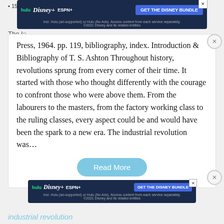[Figure (screenshot): Top Disney Bundle advertisement banner with Hulu, Disney+, ESPN+ logos and 'GET THE DISNEY BUNDLE' call-to-action button on dark blue background, with subtitle text about Hulu ad-supported or no-ads access.]
Press, 1964. pp. 119, bibliography, index. Introduction & Bibliography of T. S. Ashton Throughout history, revolutions sprung from every corner of their time. It started with those who thought differently with the courage to confront those who were above them. From the labourers to the masters, from the factory working class to the ruling classes, every aspect could be and would have been the spark to a new era. The industrial revolution was…
Read More
[Figure (screenshot): Bottom Disney Bundle advertisement banner with Hulu, Disney+, ESPN+ logos and 'GET THE DISNEY BUNDLE' call-to-action button on dark blue background, with subtitle text about Hulu ad-supported or no-ads access.]
industrial revolution